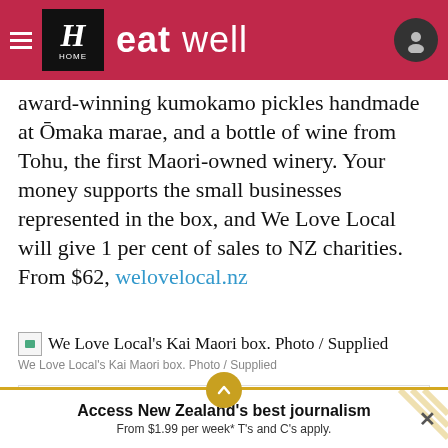eat well — Herald HOME
award-winning kumokamo pickles handmade at Ōmaka marae, and a bottle of wine from Tohu, the first Maori-owned winery. Your money supports the small businesses represented in the box, and We Love Local will give 1 per cent of sales to NZ charities. From $62, welovelocal.nz
[Figure (photo): Placeholder image thumbnail for We Love Local's Kai Maori box]
We Love Local's Kai Maori box. Photo / Supplied
A taste of Eat W… straight to your
Access New Zealand's best journalism From $1.99 per week* T's and C's apply.